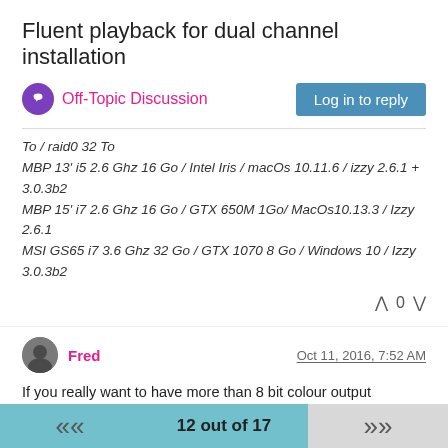Fluent playback for dual channel installation
Off-Topic Discussion
To / raid0 32 To
MBP 13' i5 2.6 Ghz 16 Go / Intel Iris / macOs 10.11.6 / izzy 2.6.1 + 3.0.3b2
MBP 15' i7 2.6 Ghz 16 Go / GTX 650M 1Go/ MacOs10.13.3 / Izzy 2.6.1
MSI GS65 i7 3.6 Ghz 32 Go / GTX 1070 8 Go / Windows 10 / Izzy 3.0.3b2
0
Fred
Oct 11, 2016, 7:52 AM
If you really want to have more than 8 bit colour output (recently apple add 10 bit support to the photos app and finder only), and only fire pro or quadro cards can output 10 bit, and pretty much no software does) you can use a different kind of playback system. Cheapest option is to go for a hyperdeck or  ki pro
12 out of 17